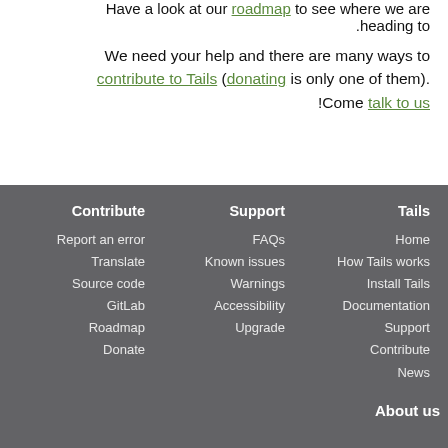Have a look at our roadmap to see where we are heading to.
We need your help and there are many ways to contribute to Tails (donating is only one of them). Come talk to us!
Contribute
Report an error
Translate
Source code
GitLab
Roadmap
Donate
Support
FAQs
Known issues
Warnings
Accessibility
Upgrade
Tails
Home
How Tails works
Install Tails
Documentation
Support
Contribute
News
About us